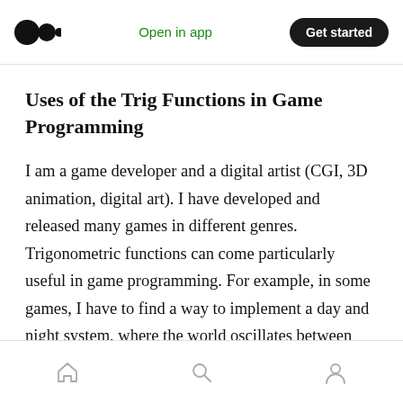Open in app | Get started
Uses of the Trig Functions in Game Programming
I am a game developer and a digital artist (CGI, 3D animation, digital art). I have developed and released many games in different genres. Trigonometric functions can come particularly useful in game programming. For example, in some games, I have to find a way to implement a day and night system, where the world oscillates between day and night repeatedly as the game
Home | Search | Profile